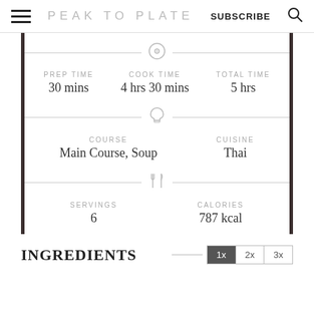PEAK TO PLATE | SUBSCRIBE
PREP TIME: 30 mins | COOK TIME: 4 hrs 30 mins | TOTAL TIME: 5 hrs
COURSE: Main Course, Soup | CUISINE: Thai
SERVINGS: 6 | CALORIES: 787 kcal
INGREDIENTS
1x 2x 3x